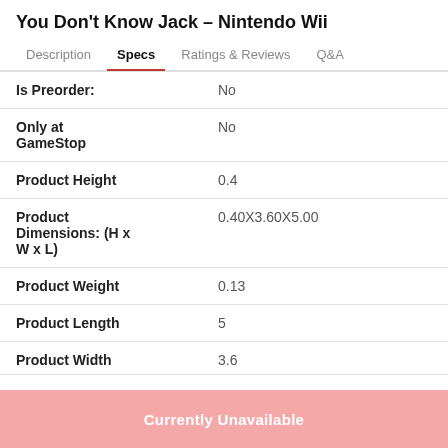You Don't Know Jack – Nintendo Wii
Description  Specs  Ratings & Reviews  Q&A
| Attribute | Value |
| --- | --- |
| Is Preorder: | No |
| Only at GameStop | No |
| Product Height | 0.4 |
| Product Dimensions: (H x W x L) | 0.40X3.60X5.00 |
| Product Weight | 0.13 |
| Product Length | 5 |
| Product Width | 3.6 |
Currently Unavailable